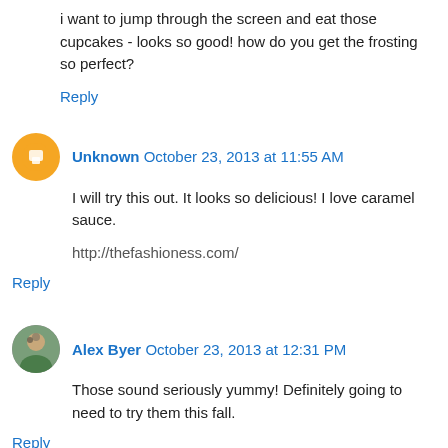i want to jump through the screen and eat those cupcakes - looks so good! how do you get the frosting so perfect?
Reply
Unknown  October 23, 2013 at 11:55 AM
I will try this out. It looks so delicious! I love caramel sauce.
http://thefashioness.com/
Reply
Alex Byer  October 23, 2013 at 12:31 PM
Those sound seriously yummy! Definitely going to need to try them this fall.
Reply
Abigailsterling  October 23, 2013 at 12:48 PM